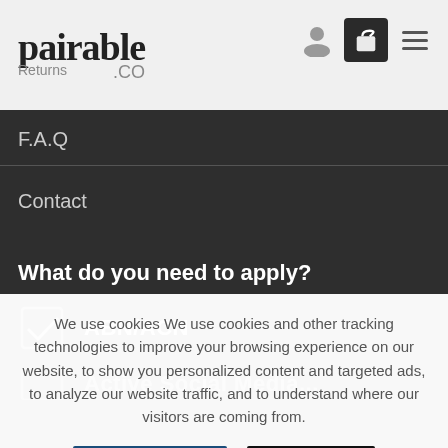pairable.co — Returns
F.A.Q
Contact
What do you need to apply?
ABN/ACN
We use cookies We use cookies and other tracking technologies to improve your browsing experience on our website, to show you personalized content and targeted ads, to analyze our website traffic, and to understand where our visitors are coming from.
MORE INFO | ACCEPT